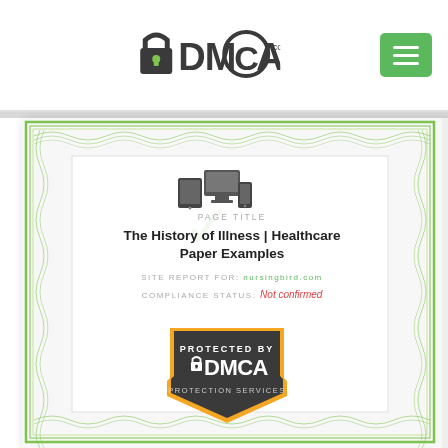[Figure (logo): DMCA.com logo with padlock icon at top navigation bar]
[Figure (screenshot): DMCA certificate page showing page title 'The History of Illness | Healthcare Paper Examples', site report for nursingbird.com, compliance status Not confirmed, and Protected by DMCA badge at bottom]